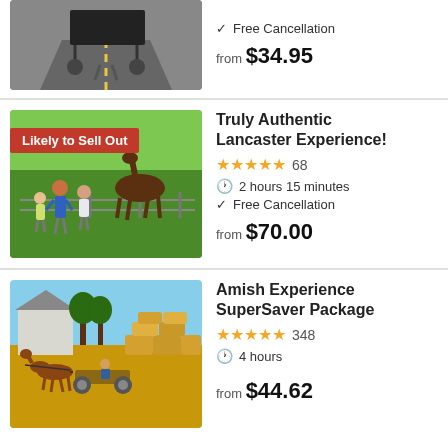[Figure (photo): Amish horse-drawn buggy on road, partial view at top of page]
Free Cancellation
from $34.95
[Figure (photo): Children and horse at fence on green farm, badge: Likely to Sell Out]
Truly Authentic Lancaster Experience!
★★★★★ 68
2 hours 15 minutes
Free Cancellation
from $70.00
[Figure (photo): Horse-drawn wagon with hay bales in harvest field, farmhouse in background]
Amish Experience SuperSaver Package
★★★★★ 348
4 hours
from $44.62